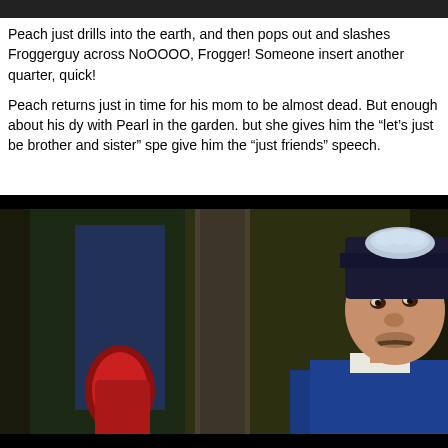[Figure (photo): Dark horizontal banner bar at the top of the page]
Peach just drills into the earth, and then pops out and slashes Froggerguy across NoOOOO, Frogger! Someone insert another quarter, quick!
Peach returns just in time for his mom to be almost dead. But enough about his dy with Pearl in the garden. but she gives him the “let’s just be brother and sister” spe give him the “just friends” speech.
[Figure (screenshot): Screenshot from what appears to be an old film or TV show, showing a man in traditional Asian costume with a dark hat adorned with white decoration, looking slightly upward with a concerned expression. The background shows dark green foliage and red elements. The image has a black border/letterbox framing.]